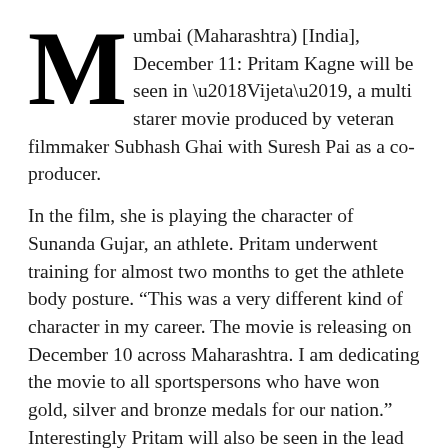Mumbai (Maharashtra) [India], December 11: Pritam Kagne will be seen in ‘Vijeta’, a multi starer movie produced by veteran filmmaker Subhash Ghai with Suresh Pai as a co-producer.
In the film, she is playing the character of Sunanda Gujar, an athlete. Pritam underwent training for almost two months to get the athlete body posture. “This was a very different kind of character in my career. The movie is releasing on December 10 across Maharashtra. I am dedicating the movie to all sportspersons who have won gold, silver and bronze medals for our nation.” Interestingly Pritam will also be seen in the lead role of the Ghai’s following ‘36 Farmhouse’ too.